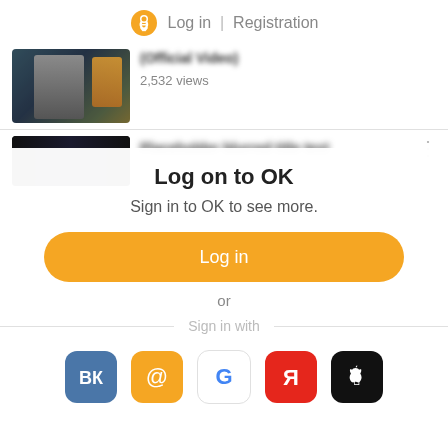Log in | Registration
(Official Video)
2,532 views
Log on to OK
Sign in to OK to see more.
Log in
or
Sign up
Sign in with
[Figure (screenshot): Social login icons: VK (blue), Mail.ru (orange @), Google (G), Yandex (Я), Apple (apple logo black)]